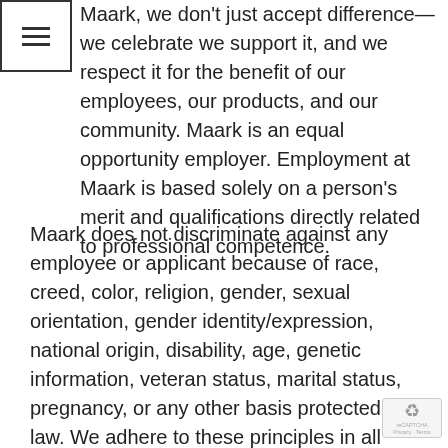≡
Maark, we don't just accept difference—we celebrate we support it, and we respect it for the benefit of our employees, our products, and our community. Maark is an equal opportunity employer. Employment at Maark is based solely on a person's merit and qualifications directly related to professional competence.
Maark does not discriminate against any employee or applicant because of race, creed, color, religion, gender, sexual orientation, gender identity/expression, national origin, disability, age, genetic information, veteran status, marital status, pregnancy, or any other basis protected by law. We adhere to these principles in all aspects of employment, including recruitment, hiring, training, compensation, promotion, benefits, social and recreational programs, and discipline.